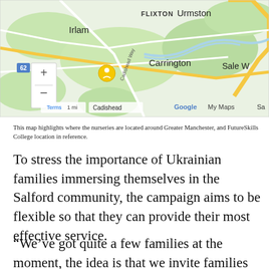[Figure (map): Google My Maps showing locations around Greater Manchester including Irlam, Carrington, Flixton, Urmston, and Sale areas. A yellow location pin marker is visible near Irlam. Map controls with zoom in/out buttons visible on the left. Map scale shows 1 mi.]
This map highlights where the nurseries are located around Greater Manchester, and FutureSkills College location in reference.
To stress the importance of Ukrainian families immersing themselves in the Salford community, the campaign aims to be flexible so that they can provide their most effective service.
“We’ve got quite a few families at the moment, the idea is that we invite families into the setting, and we